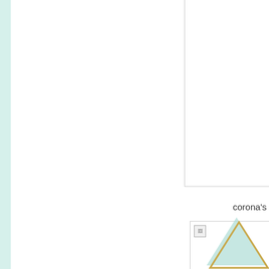[Figure (illustration): Left mint/teal vertical sidebar strip]
[Figure (illustration): Top-right white panel with light gray border]
corona's
[Figure (illustration): Bottom-right panel containing a broken image icon and overlapping triangles: a mint/teal filled triangle and a gold/yellow outlined triangle]